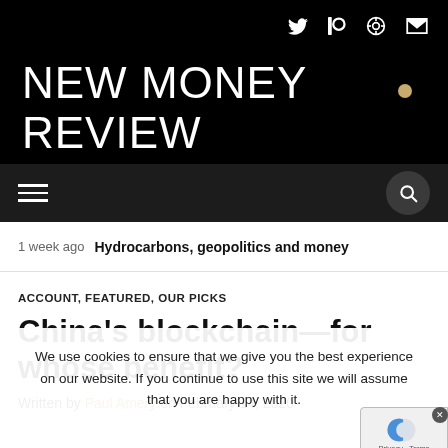NEW MONEY REVIEW
1 week ago  Hydrocarbons, geopolitics and money
ACCOUNT, FEATURED, OUR PICKS
China's blockchain—for whose benefit?
We use cookies to ensure that we give you the best experience on our website. If you continue to use this site we will assume that you are happy with it.
Written by Paul Amery on February 14, 2020